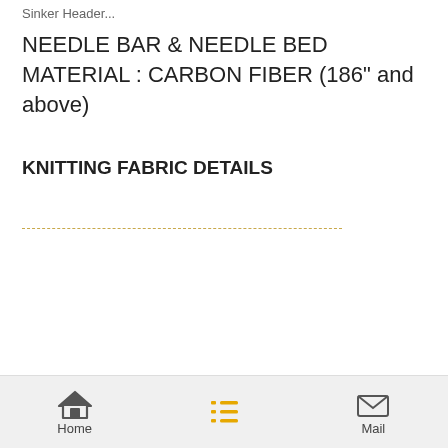Sinker Header.
NEEDLE BAR & NEEDLE BED MATERIAL : CARBON FIBER (186" and above)
KNITTING FABRIC DETAILS
Home | (list icon) | Mail